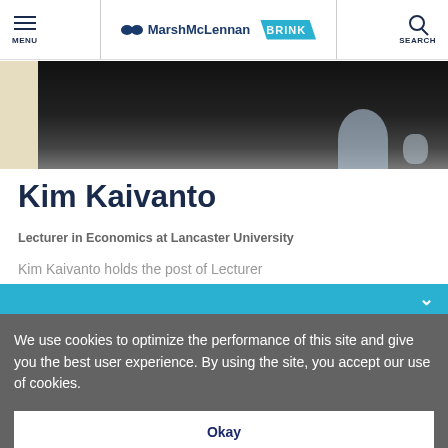MENU | MarshMcLennan BRINK | SEARCH
[Figure (photo): Partial photo of Kim Kaivanto, showing dark clothing and background]
Kim Kaivanto
Lecturer in Economics at Lancaster University
Kim Kaivanto holds the post of Lecturer
We use cookies to optimize the performance of this site and give you the best user experience. By using the site, you accept our use of cookies.
Okay
Manage Cookies